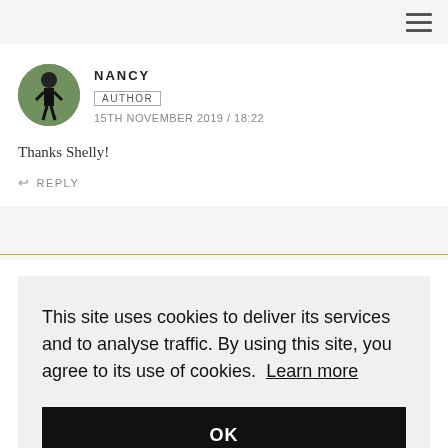[Figure (screenshot): Hamburger menu icon (three horizontal lines) in the top right corner]
NANCY
AUTHOR
15TH NOVEMBER 2019 / 18:22
Thanks Shelly!
REPLY
This site uses cookies to deliver its services and to analyse traffic. By using this site, you agree to its use of cookies. Learn more
OK
REPLY